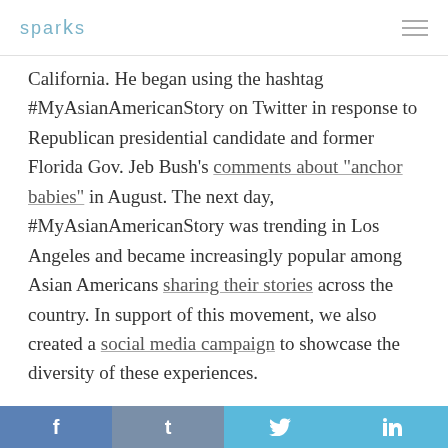sparks
California. He began using the hashtag #MyAsianAmericanStory on Twitter in response to Republican presidential candidate and former Florida Gov. Jeb Bush’s comments about “anchor babies” in August. The next day, #MyAsianAmericanStory was trending in Los Angeles and became increasingly popular among Asian Americans sharing their stories across the country. In support of this movement, we also created a social media campaign to showcase the diversity of these experiences.
We sat down to talk to Jason at his home in Manhattan Beach, California, where he opened up to us about his own Asian American story.
f  t    in